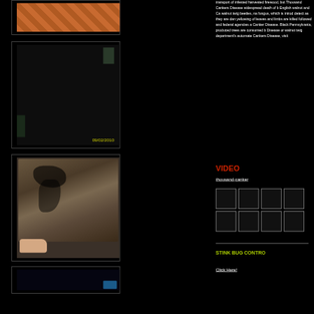[Figure (photo): Video thumbnail showing orange/brown floor tiles]
[Figure (photo): Video thumbnail showing dark room interior with timestamp 09/02/2010]
[Figure (photo): Video thumbnail showing bark with canker damage and person's thumb]
[Figure (photo): Video thumbnail partially visible at bottom, dark with blue element]
transport of infested harvested firewood, but... Thousand Cankers Disease widespread death of black English walnut and Ca... walnut twig beetles, na... fungus, which is introd... detect as they are dan... yellowing of leaves an... limbs are killed followe... and federal agencies a... Canker Disease. Black... Pennsylvania, produce... trees are consumed b... Disease or walnut twi... department's automate... Cankers Disease, visit ...
VIDEO
thousand-canker...
[Figure (screenshot): 2x4 grid of video thumbnail images]
STINK BUG CONTRO...
Click Here!